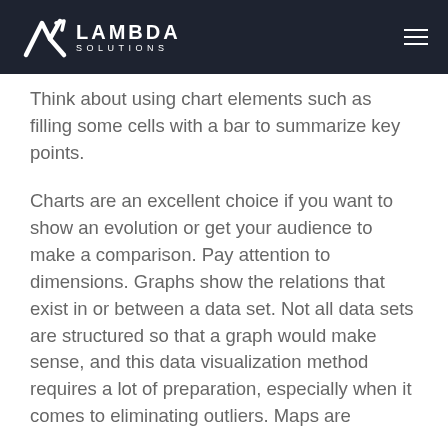Lambda Solutions
Think about using chart elements such as filling some cells with a bar to summarize key points.
Charts are an excellent choice if you want to show an evolution or get your audience to make a comparison. Pay attention to dimensions. Graphs show the relations that exist in or between a data set. Not all data sets are structured so that a graph would make sense, and this data visualization method requires a lot of preparation, especially when it comes to eliminating outliers. Maps are